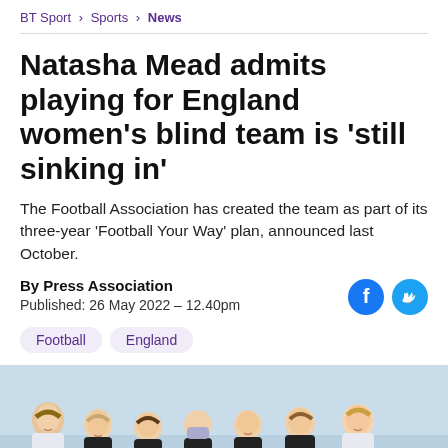BT Sport > Sports > News
Natasha Mead admits playing for England women's blind team is 'still sinking in'
The Football Association has created the team as part of its three-year 'Football Your Way' plan, announced last October.
By Press Association
Published: 26 May 2022 – 12.40pm
Football  England
[Figure (photo): Group photo of England women's blind football team members smiling outdoors, wearing black and white kit, one person wearing a face mask]